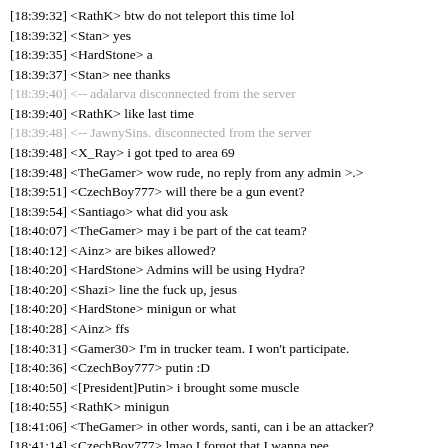[18:39:32] <RathK> btw do not teleport this time lol
[18:39:32] <Stan> yes
[18:39:35] <HardStone> a
[18:39:37] <Stan> nee thanks
[18:39:40] <-- adalarva disconnected from the server
[18:39:40] <RathK> like last time
[18:39:48] <-- JawnySins. disconnected from the server
[18:39:48] <X_Ray> i got tped to area 69
[18:39:48] <TheGamer> wow rude, no reply from any admin >.>
[18:39:51] <CzechBoy777> will there be a gun event?
[18:39:54] <Santiago> what did you ask
[18:40:07] <TheGamer> may i be part of the cat team?
[18:40:12] <Ainz> are bikes allowed?
[18:40:20] <HardStone> Admins will be using Hydra?
[18:40:20] <Shazi> line the fuck up, jesus
[18:40:20] <HardStone> minigun or what
[18:40:28] <Ainz> ffs
[18:40:31] <Gamer30> I'm in trucker team. I won't participate.
[18:40:36] <CzechBoy777> putin :D
[18:40:50] <[President]Putin> i brought some muscle
[18:40:55] <RathK> minigun
[18:41:06] <TheGamer> in other words, santi, can i be an attacker?
[18:41:14] <CzechBoy777> lmao I forgot that I wanna pee
[18:41:17] <Santiago> yeah you can be one
[18:41:17] <Gajeel> darling kiss me